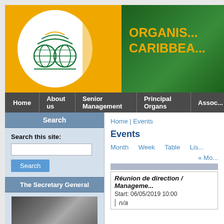[Figure (logo): ACP (African, Caribbean and Pacific Group) organization logo — green circular emblem with globe motifs on orange background with green right section showing 'ORGANIS... CARIBBEA...' text]
ORGANIS... CARIBBEA...
[Figure (screenshot): Navigation bar with menu items: Home, About us, Senior Management, Principal Organs, Assoc...]
Home | Events
Events
Month   Week   Table   Lis...
« Mo...
Search
Search this site:
The Secretary General
Réunion de direction / Manageme...
Start: 06/05/2019 10:00
n/a